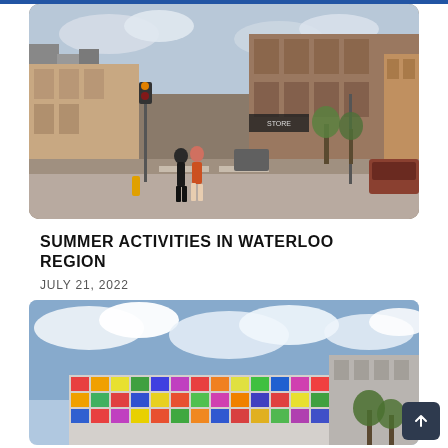[Figure (photo): Street scene in Waterloo Region showing pedestrians walking along a wide urban road with shops, traffic lights, and parked cars on a cloudy day.]
SUMMER ACTIVITIES IN WATERLOO REGION
JULY 21, 2022
[Figure (photo): Modern building with a colorful tiled facade of multicolored rectangular panels under a blue sky with clouds.]